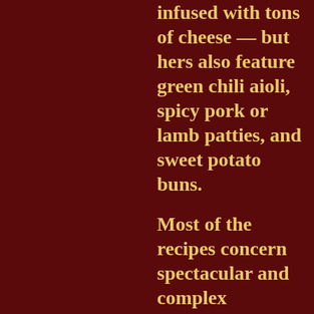infused with tons of cheese — but hers also feature green chili aioli, spicy pork or lamb patties, and sweet potato buns.

Most of the recipes concern spectacular and complex interplay of contrasting flavors and textures — finding ways to combine hot and sweet, crisp and unctuous and sour in each bite. There's a lot of prep and plenty of challenging ingredients. In my first foray into cooking one of these, I struck out